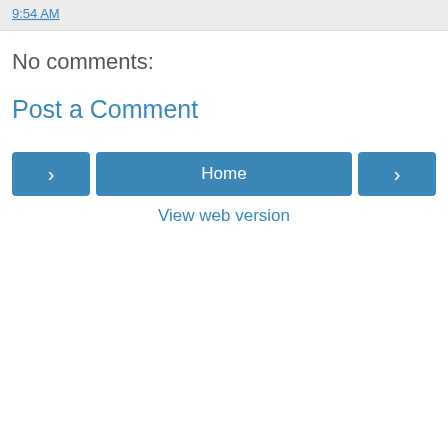9:54 AM
No comments:
Post a Comment
‹  Home  ›
View web version